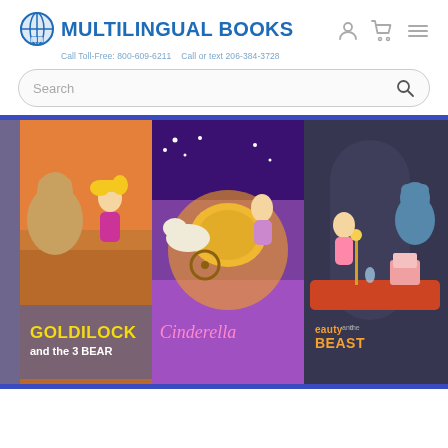[Figure (logo): Multilingual Books logo with globe icon, blue text reading MULTILINGUAL BOOKS, and tagline: Call Toll-Free: 800-609-6211  Call or text 206-384-3728]
[Figure (illustration): Banner image showing three children's book covers side by side: Goldilocks and the 3 Bears, Cinderella, and Beauty and the Beast. Illustrated cartoon style with colorful backgrounds.]